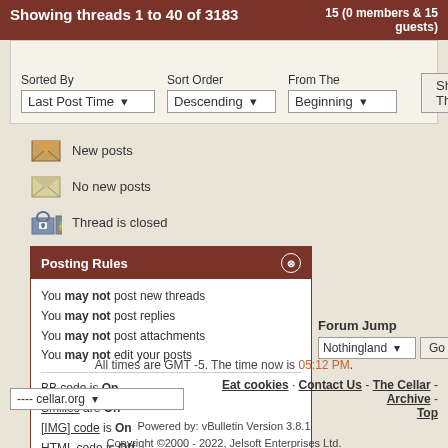Showing threads 1 to 40 of 3183
15 (0 members & 15 guests)
Sorted By: Last Post Time | Sort Order: Descending | From The: Beginning
New posts
No new posts
Thread is closed
Posting Rules
You may not post new threads
You may not post replies
You may not post attachments
You may not edit your posts
BB code is On
Smilies are On
[IMG] code is On
HTML code is Off
Forum Rules
Forum Jump
All times are GMT -5. The time now is 05:12 PM.
---- cellar.org
Eat cookies · Contact Us - The Cellar - Archive - Top
Powered by: vBulletin Version 3.8.1
Copyright ©2000 - 2022, Jelsoft Enterprises Ltd.